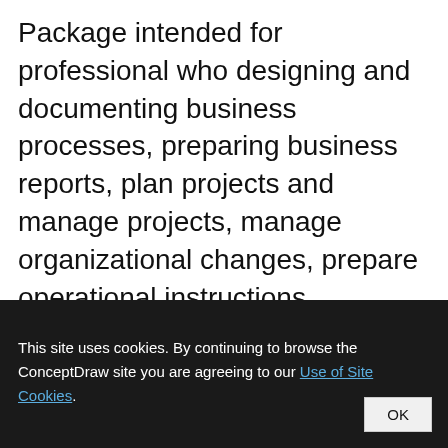Package intended for professional who designing and documenting business processes, preparing business reports, plan projects and manage projects, manage organizational changes, prepare operational instructions, supervising specific department of an organization, workout customer service processes and prepare trainings for customer service personal, carry out a variety of duties to organize business workflow
This site uses cookies. By continuing to browse the ConceptDraw site you are agreeing to our Use of Site Cookies.